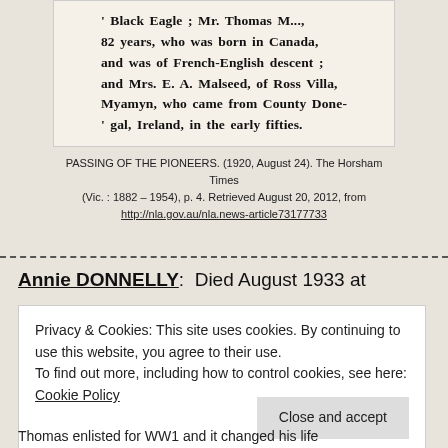[Figure (photo): Scanned newspaper clipping excerpt in bold serif text reading: 'Black Eagle ; Mr. Thomas M..., 82 years, who was born in Canada, and was of French-English descent ; and Mrs. E. A. Malseed, of Ross Villa, Myamyn, who came from County Donegal, Ireland, in the early fifties.']
PASSING OF THE PIONEERS. (1920, August 24). The Horsham Times (Vic. : 1882 – 1954), p. 4. Retrieved August 20, 2012, from http://nla.gov.au/nla.news-article73177733
Annie DONNELLY:  Died August 1933 at
Privacy & Cookies: This site uses cookies. By continuing to use this website, you agree to their use.
To find out more, including how to control cookies, see here: Cookie Policy
Thomas enlisted for WW1 and it changed his life